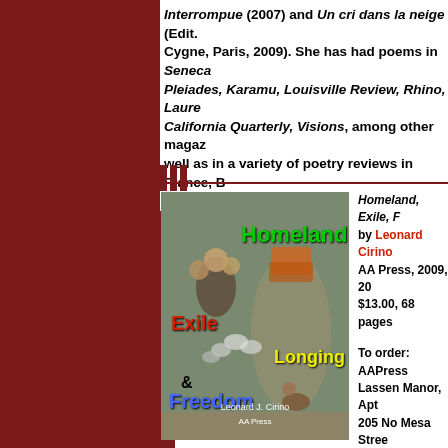Interrompue (2007) and Un cri dans la neige (Edit. Cygne, Paris, 2009). She has had poems in Seneca Review, Pleiades, Karamu, Louisville Review, Rhino, Laurel Review, California Quarterly, Visions, among other magazines, as well as in a variety of poetry reviews in France, Belgium, Quebec and Romania.
[Figure (photo): Book cover of 'Homeland, Exile, and Freedom' by Leonard J. Cirino, AA Press. Shows a photo of people and animals on a rural road with text titles: Homeland (green), Exile (red), Longing (yellow), Freedom (blue).]
Homeland, Exile, Freedom by Leonard Cirino AA Press, 2009, 20... $13.00, 68 pages

To order:
AAPress
Lassen Manor, Apt...
205 No Mesa Street...
Susanville, CA 961...